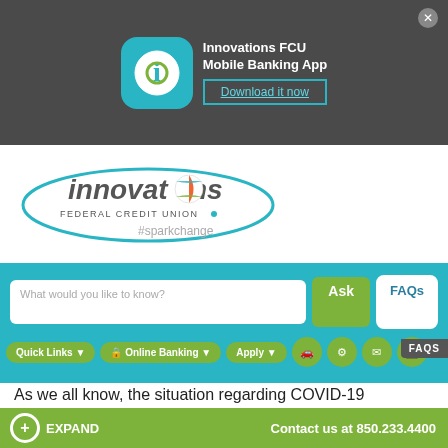[Figure (screenshot): Innovations FCU Mobile Banking App advertisement banner with teal app icon and Download it now button]
[Figure (logo): Innovations Federal Credit Union logo with beach ball graphic and #sparkchange tagline]
[Figure (screenshot): Teal navigation bar with search field 'What would you like to know?', Ask button, FAQs button, Quick Links, Online Banking, Apply dropdowns, and icon buttons]
As we all know, the situation regarding COVID-19 (Coronavirus) remains fluid at this time. Innovations continues to follow all available guidelines and regulations to make the best effort to keep our members and team members as safe as possible during this time. We have been here for you in past emergencies and
EXPAND   Contact us at 850.233.4400